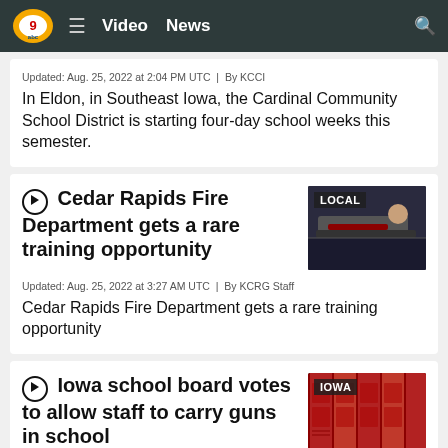Video  News
Updated: Aug. 25, 2022 at 2:04 PM UTC  |  By KCCI
In Eldon, in Southeast Iowa, the Cardinal Community School District is starting four-day school weeks this semester.
Cedar Rapids Fire Department gets a rare training opportunity
[Figure (photo): LOCAL: Person being treated by emergency responders on a stretcher]
Updated: Aug. 25, 2022 at 3:27 AM UTC  |  By KCRG Staff
Cedar Rapids Fire Department gets a rare training opportunity
Iowa school board votes to allow staff to carry guns in school
[Figure (photo): IOWA: Red school lockers in a hallway]